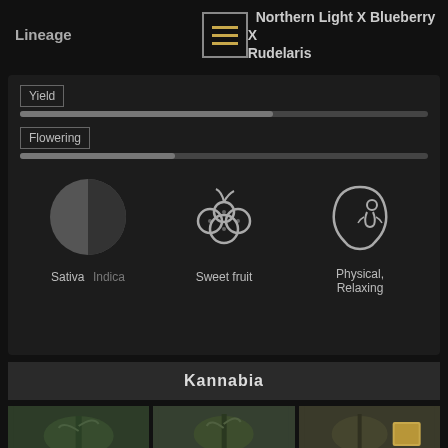Lineage
Northern Light X Blueberry X Rudelaris
Yield
Flowering
[Figure (pie-chart): Sativa/Indica proportion pie chart]
Sativa  Indica
[Figure (illustration): Sweet fruit berry icon]
Sweet fruit
[Figure (illustration): Physical relaxing head icon]
Physical, Relaxing
Kannabia
[Figure (photo): Cannabis plant photo 1]
[Figure (photo): Cannabis plant photo 2]
[Figure (photo): Cannabis plant photo 3 with seed packet]